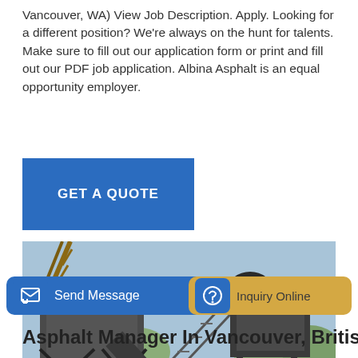Vancouver, WA) View Job Description. Apply. Looking for a different position? We're always on the hunt for talents. Make sure to fill out our application form or print and fill out our PDF job application. Albina Asphalt is an equal opportunity employer.
GET A QUOTE
[Figure (photo): Industrial asphalt plant machinery showing large metal hoppers, conveyor belts, and processing equipment on an outdoor site with blue sky and trees in background]
Send Message
Inquiry Online
Asphalt Manager In Vancouver, British